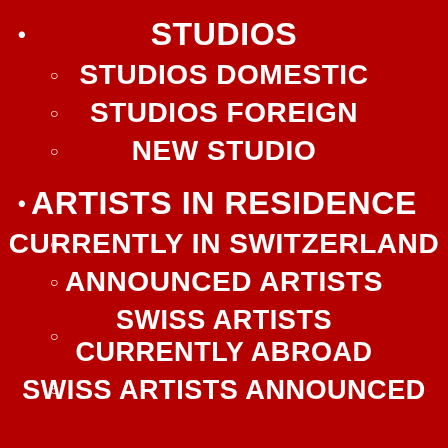STUDIOS
STUDIOS DOMESTIC
STUDIOS FOREIGN
NEW STUDIO
ARTISTS IN RESIDENCE
CURRENTLY IN SWITZERLAND
ANNOUNCED ARTISTS
SWISS ARTISTS CURRENTLY ABROAD
SWISS ARTISTS ANNOUNCED